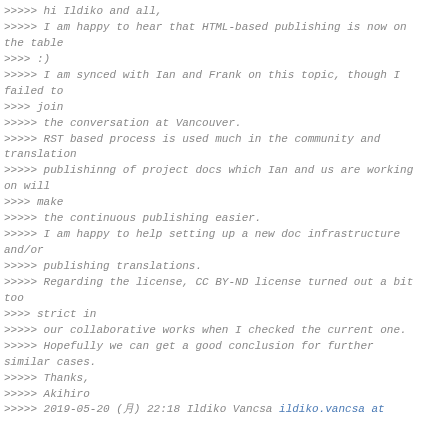>>>>> hi Ildiko and all,
>>>>> I am happy to hear that HTML-based publishing is now on the table
>>>> :)
>>>>> I am synced with Ian and Frank on this topic, though I failed to
>>>> join
>>>>> the conversation at Vancouver.
>>>>> RST based process is used much in the community and translation
>>>>> publishinng of project docs which Ian and us are working on will
>>>> make
>>>>> the continuous publishing easier.
>>>>> I am happy to help setting up a new doc infrastructure and/or
>>>>> publishing translations.
>>>>> Regarding the license, CC BY-ND license turned out a bit too
>>>> strict in
>>>>> our collaborative works when I checked the current one.
>>>>> Hopefully we can get a good conclusion for further similar cases.
>>>>> Thanks,
>>>>> Akihiro
>>>>> 2019-05-20 (月) 22:18 Ildiko Vancsa <ildiko.vancsa at